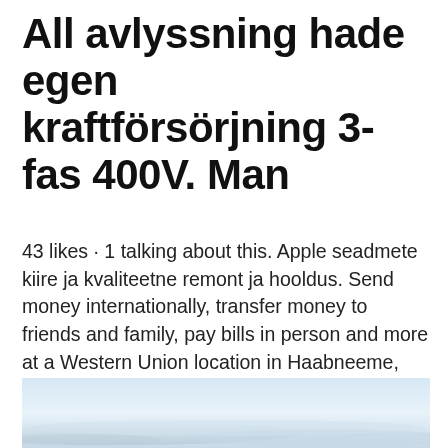All avlyssning hade egen kraftförsörjning 3-fas 400V. Man
43 likes · 1 talking about this. Apple seadmete kiire ja kvaliteetne remont ja hooldus. Send money internationally, transfer money to friends and family, pay bills in person and more at a Western Union location in Haabneeme, Harju County. Kulli is a village in Raasiku Parish, Harju County in north Estonia This short article about a place or feature can be made longer.
[Figure (photo): Landscape photo showing a pale sky with soft cloud formations near the horizon, light blue and white tones.]